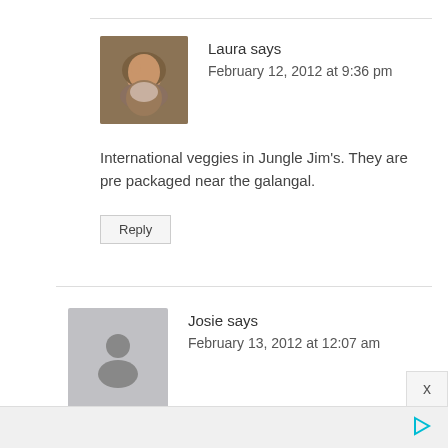Laura says
February 12, 2012 at 9:36 pm
International veggies in Jungle Jim's. They are pre packaged near the galangal.
Reply
Josie says
February 13, 2012 at 12:07 am